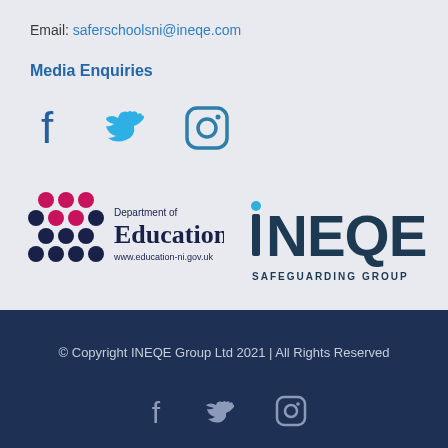Email: saferschoolsni@ineqe.com
Media Enquiries
[Figure (logo): Social media icons: Facebook, Twitter, Instagram in blue tones]
[Figure (logo): Department of Education logo with www.education-ni.gov.uk and iNEQE Safeguarding Group logo]
© Copyright INEQE Group Ltd 2021 | All Rights Reserved
[Figure (logo): Footer social media icons: Facebook, Twitter, Instagram in white/grey on dark blue background]